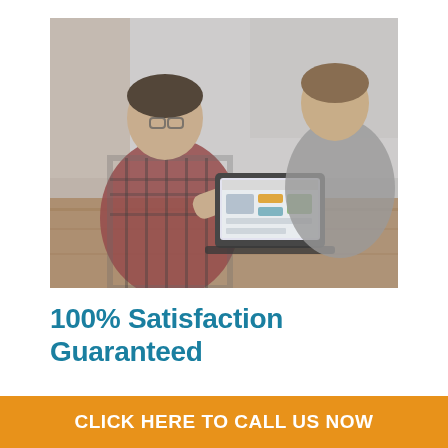[Figure (photo): Two people and a third person looking at a laptop screen showing a website, seated at a wooden table in a casual office or cafe setting. The person on the left wears a plaid shirt and glasses.]
100% Satisfaction Guaranteed
Our customers walk away happy. That's
CLICK HERE TO CALL US NOW